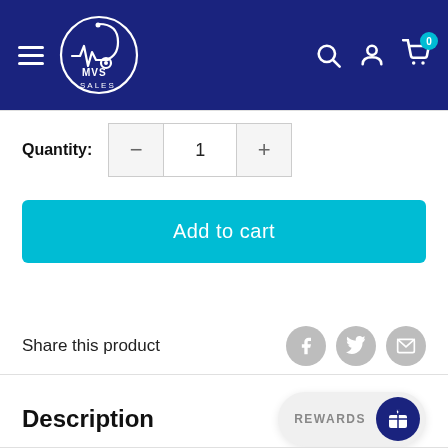[Figure (logo): MVS Sales logo in white on dark blue background with stethoscope/heartbeat design in a circle]
Quantity: 1
Add to cart
Share this product
Description
REWARDS